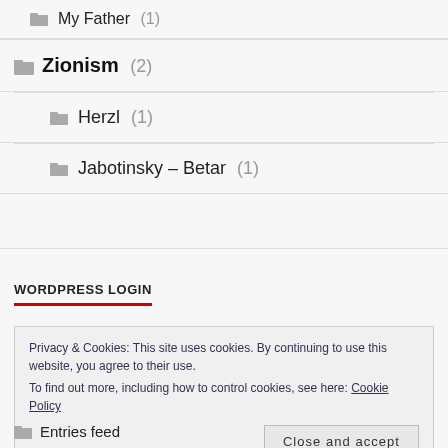My Father (1)
Zionism (2)
Herzl (1)
Jabotinsky – Betar (1)
WORDPRESS LOGIN
Privacy & Cookies: This site uses cookies. By continuing to use this website, you agree to their use.
To find out more, including how to control cookies, see here: Cookie Policy
Close and accept
Entries feed